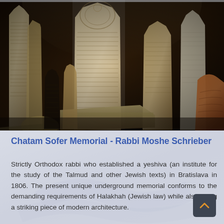[Figure (photo): Photograph of ancient Jewish gravestones and tombstones with Hebrew inscriptions, lit at night, crowded together in an underground or enclosed memorial space. Stones are of various shapes and sizes, some lying flat, with warm amber/golden lighting.]
Chatam Sofer Memorial - Rabbi Moshe Schrieber
Strictly Orthodox rabbi who established a yeshiva (an institute for the study of the Talmud and other Jewish texts) in Bratislava in 1806. The present unique underground memorial conforms to the demanding requirements of Halakhah (Jewish law) while also being a striking piece of modern architecture.